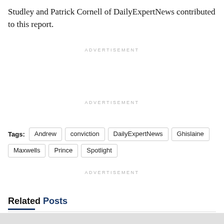Studley and Patrick Cornell of DailyExpertNews contributed to this report.
ADVERTISEMENT
ADVERTISEMENT
Tags: Andrew conviction DailyExpertNews Ghislaine Maxwells Prince Spotlight
ADVERTISEMENT
Related Posts